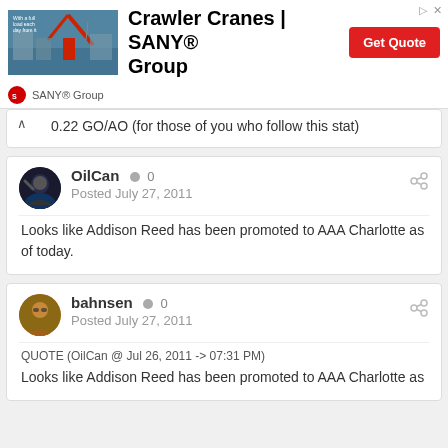[Figure (screenshot): SANY Group advertisement banner with crawler crane image, bold title 'Crawler Cranes | SANY® Group', Get Quote button, and SANY® Group attribution]
0.22 GO/AO (for those of you who follow this stat)
OilCan  ● 0
Posted July 27, 2011
Looks like Addison Reed has been promoted to AAA Charlotte as of today.
bahnsen  ● 0
Posted July 27, 2011
QUOTE (OilCan @ Jul 26, 2011 -> 07:31 PM)
Looks like Addison Reed has been promoted to AAA Charlotte as